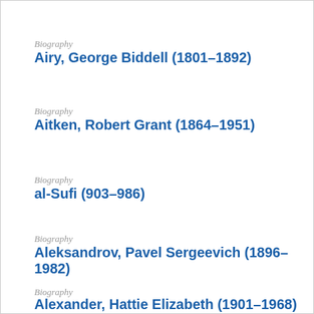Biography
Airy, George Biddell (1801–1892)
Biography
Aitken, Robert Grant (1864–1951)
Biography
al-Sufi (903–986)
Biography
Aleksandrov, Pavel Sergeevich (1896–1982)
Biography
Alexander, Hattie Elizabeth (1901–1968)